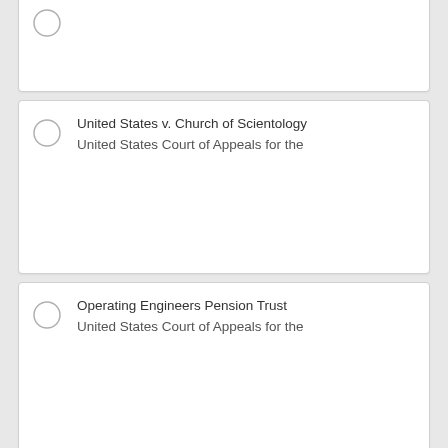(partial card, radio button visible)
United States v. Church of Scientology
United States Court of Appeals for the
Operating Engineers Pension Trust
United States Court of Appeals for the
National Labor Relations Board v.
United States Court of Appeals for the
U-Haul International Inc. v. Jartran Inc.
United States Court of Appeals for the